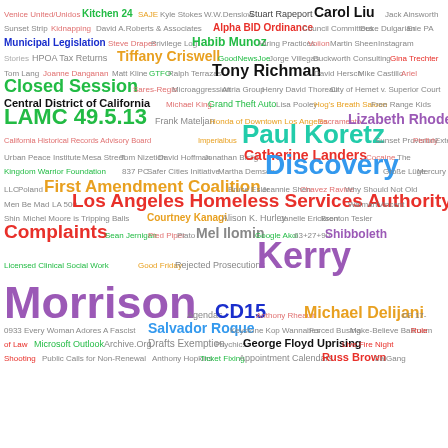[Figure (infographic): Word cloud with legal, government, and political terms in various colors and font sizes representing frequency/importance]